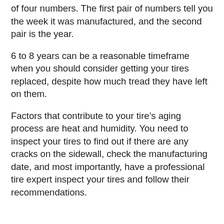of four numbers. The first pair of numbers tell you the week it was manufactured, and the second pair is the year.
6 to 8 years can be a reasonable timeframe when you should consider getting your tires replaced, despite how much tread they have left on them.
Factors that contribute to your tire’s aging process are heat and humidity. You need to inspect your tires to find out if there are any cracks on the sidewall, check the manufacturing date, and most importantly, have a professional tire expert inspect your tires and follow their recommendations.